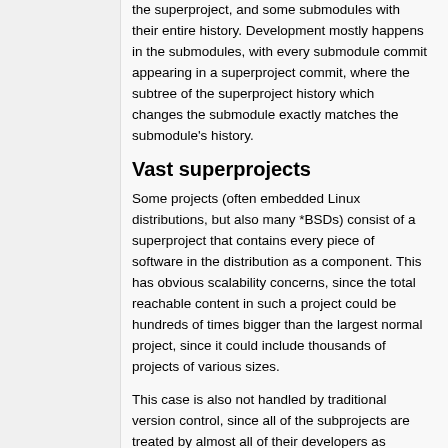the superproject, and some submodules with their entire history. Development mostly happens in the submodules, with every submodule commit appearing in a superproject commit, where the subtree of the superproject history which changes the submodule exactly matches the submodule's history.
Vast superprojects
Some projects (often embedded Linux distributions, but also many *BSDs) consist of a superproject that contains every piece of software in the distribution as a component. This has obvious scalability concerns, since the total reachable content in such a project could be hundreds of times bigger than the largest normal project, since it could include thousands of projects of various sizes.
This case is also not handled by traditional version control, since all of the subprojects are treated by almost all of their developers as completely independent projects. Version control is used to track distribution URLs of the